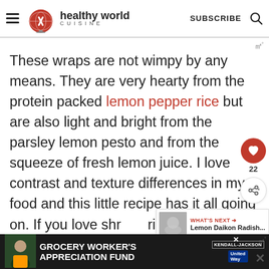healthy world cuisine — SUBSCRIBE
These wraps are not wimpy by any means. They are very hearty from the protein packed lemon pepper rice but are also light and bright from the parsley lemon pesto and from the squeeze of fresh lemon juice. I love contrast and texture differences in my food and this little recipe has it all going on. If you love shrimp rice together, you are going to want to try
[Figure (other): What's Next widget showing Lemon Daikon Radish... article thumbnail]
[Figure (other): Ad banner: Grocery Worker's Appreciation Fund featuring Kendall-Jackson and United Way logos]